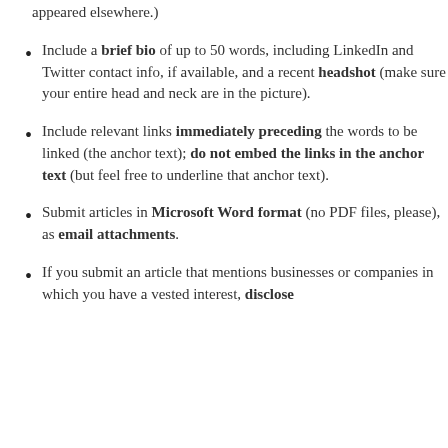appeared elsewhere.)
Include a brief bio of up to 50 words, including LinkedIn and Twitter contact info, if available, and a recent headshot (make sure your entire head and neck are in the picture).
Include relevant links immediately preceding the words to be linked (the anchor text); do not embed the links in the anchor text (but feel free to underline that anchor text).
Submit articles in Microsoft Word format (no PDF files, please), as email attachments.
If you submit an article that mentions businesses or companies in which you have a vested interest, disclose